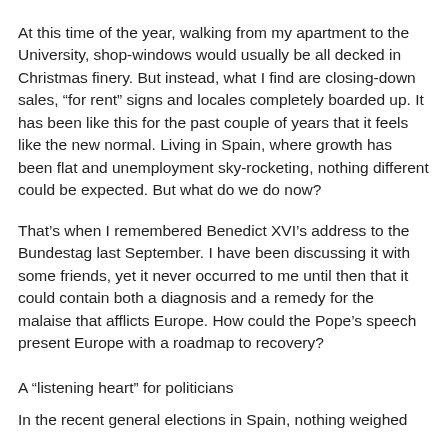At this time of the year, walking from my apartment to the University, shop-windows would usually be all decked in Christmas finery. But instead, what I find are closing-down sales, “for rent” signs and locales completely boarded up. It has been like this for the past couple of years that it feels like the new normal. Living in Spain, where growth has been flat and unemployment sky-rocketing, nothing different could be expected. But what do we do now?
That’s when I remembered Benedict XVI’s address to the Bundestag last September. I have been discussing it with some friends, yet it never occurred to me until then that it could contain both a diagnosis and a remedy for the malaise that afflicts Europe. How could the Pope’s speech present Europe with a roadmap to recovery?
A “listening heart” for politicians
In the recent general elections in Spain, nothing weighed